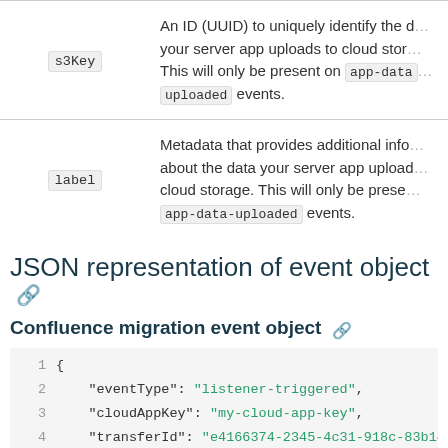| Parameter | Description |
| --- | --- |
| s3Key | An ID (UUID) to uniquely identify the data your server app uploads to cloud storage. This will only be present on app-data-uploaded events. |
| label | Metadata that provides additional information about the data your server app uploads to cloud storage. This will only be present on app-data-uploaded events. |
JSON representation of event object
Confluence migration event object
{
  "eventType": "listener-triggered",
  "cloudAppKey": "my-cloud-app-key",
  "transferId": "e4166374-2345-4c31-918c-83b14eb",
  "migrationDetails": {
    "migrationId": "...